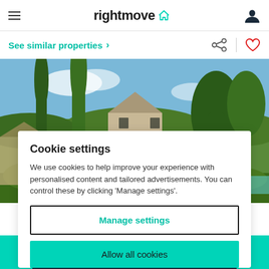rightmove
See similar properties
[Figure (photo): Exterior photo of a stone farmhouse surrounded by tall cypress trees and lush greenery, with a blue sky in the background, typical Tuscan countryside property.]
Cookie settings
We use cookies to help improve your experience with personalised content and tailored advertisements. You can control these by clicking 'Manage settings'.
Manage settings
Allow all cookies